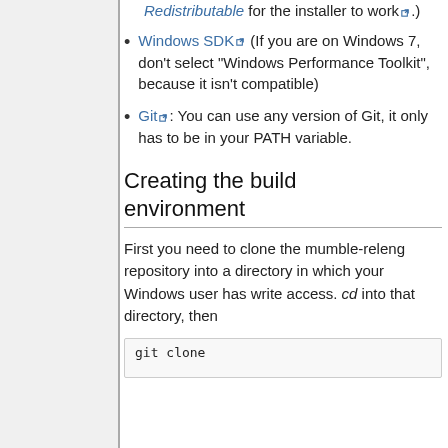Redistributable for the installer to work. (partial, continuation)
Windows SDK (If you are on Windows 7, don't select "Windows Performance Toolkit", because it isn't compatible)
Git: You can use any version of Git, it only has to be in your PATH variable.
Creating the build environment
First you need to clone the mumble-releng repository into a directory in which your Windows user has write access. cd into that directory, then
git clone